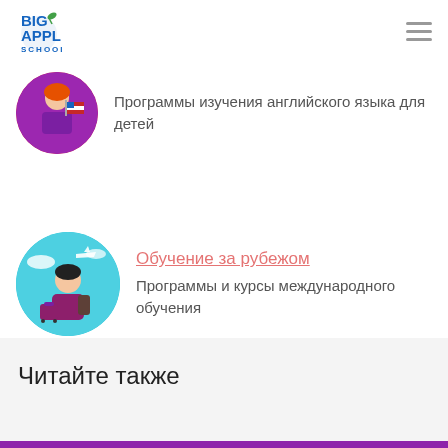[Figure (logo): Big Apple School logo with blue text and green apple icon]
[Figure (illustration): Circular avatar with pink/purple background showing a girl holding an American flag]
Программы изучения английского языка для детей
[Figure (illustration): Circular avatar with teal/cyan background showing a young man with a backpack and luggage, airplane in background]
Обучение за рубежом
Программы и курсы международного обучения
Читайте также